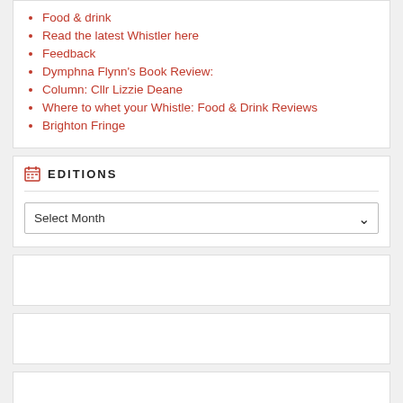Food & drink
Read the latest Whistler here
Feedback
Dymphna Flynn's Book Review:
Column: Cllr Lizzie Deane
Where to whet your Whistle: Food & Drink Reviews
Brighton Fringe
EDITIONS
Select Month